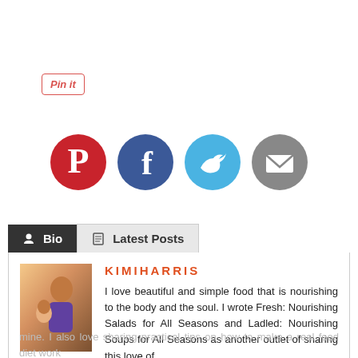[Figure (other): Pin it button with red border and italic red text]
[Figure (other): Social sharing icons: Pinterest (red circle with P), Facebook (dark blue circle with f), Twitter (light blue circle with bird), Email (gray circle with envelope)]
[Figure (other): Bio/Latest Posts tab widget with author photo of Kimi Harris and bio text]
KIMIHARRIS
I love beautiful and simple food that is nourishing to the body and the soul. I wrote Fresh: Nourishing Salads for All Seasons and Ladled: Nourishing Soups for All Seasons as another outlet of sharing this love of
mine. I also love sharing practical tips on how to make a real food diet work